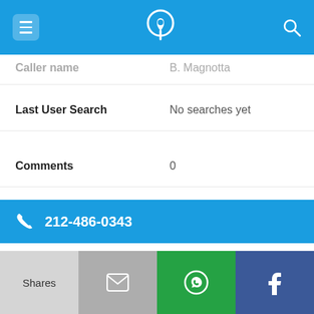Navigation bar with menu, phone-location icon, and search icon
Caller name: B. Magnotta
Last User Search: No searches yet
Comments: 0
212-486-0343
Alternate Form: 2124860343
Caller name: Marc Louis Sage
Last User Search: No searches yet
Shares | Email | WhatsApp | Facebook